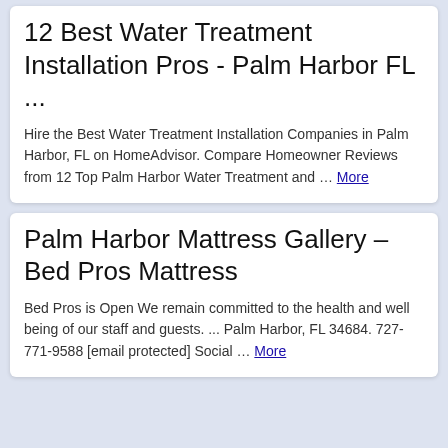12 Best Water Treatment Installation Pros - Palm Harbor FL ...
Hire the Best Water Treatment Installation Companies in Palm Harbor, FL on HomeAdvisor. Compare Homeowner Reviews from 12 Top Palm Harbor Water Treatment and … More
Palm Harbor Mattress Gallery – Bed Pros Mattress
Bed Pros is Open We remain committed to the health and well being of our staff and guests. ... Palm Harbor, FL 34684. 727-771-9588 [email protected] Social … More